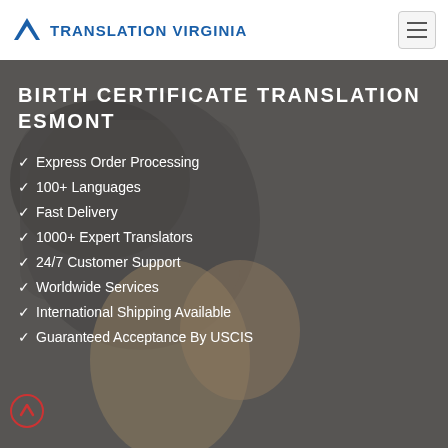TRANSLATION VIRGINIA
BIRTH CERTIFICATE TRANSLATION ESMONT
Express Order Processing
100+ Languages
Fast Delivery
1000+ Expert Translators
24/7 Customer Support
Worldwide Services
International Shipping Available
Guaranteed Acceptance By USCIS